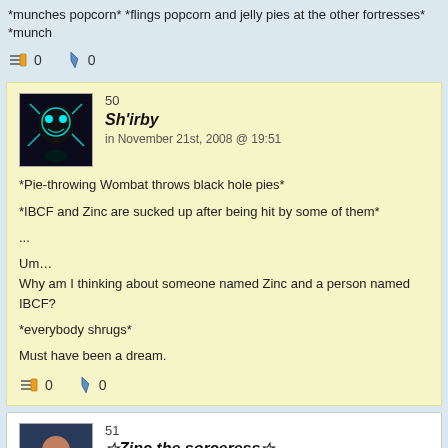*munches popcorn* *flings popcorn and jelly pies at the other fortresses* *munch
0   0
50
Sh'irby
in November 21st, 2008 @ 19:51
*Pie-throwing Wombat throws black hole pies*
*IBCF and Zinc are sucked up after being hit by some of them*
...
Um...
Why am I thinking about someone named Zinc and a person named IBCF?
*everybody shrugs*
Must have been a dream.
0   0
51
☆ Zinc the sorceress ☆
in November 21st, 2008 @ 20:20
*is hit by black hole pie* Well, this sucks...